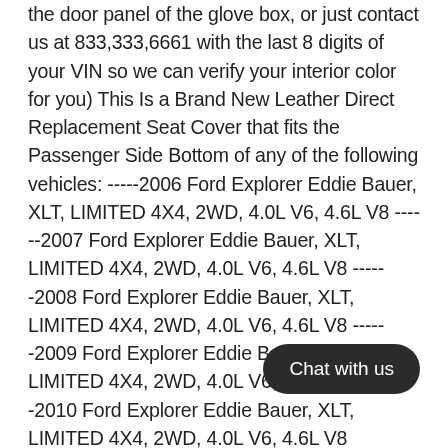the door panel of the glove box, or just contact us at 833,333,6661 with the last 8 digits of your VIN so we can verify your interior color for you) This Is a Brand New Leather Direct Replacement Seat Cover that fits the Passenger Side Bottom of any of the following vehicles: ------2006 Ford Explorer Eddie Bauer, XLT, LIMITED 4X4, 2WD, 4.0L V6, 4.6L V8 ------2007 Ford Explorer Eddie Bauer, XLT, LIMITED 4X4, 2WD, 4.0L V6, 4.6L V8 ------2008 Ford Explorer Eddie Bauer, XLT, LIMITED 4X4, 2WD, 4.0L V6, 4.6L V8 ------2009 Ford Explorer Eddie Bauer, XLT, LIMITED 4X4, 2WD, 4.0L V6, 4.6L V8 ------2010 Ford Explorer Eddie Bauer, XLT, LIMITED 4X4, 2WD, 4.0L V6, 4.6L V8 Compatibility: These Brand New OEM Replacement Seat Covers are compatible with Cooled/Heated and Powered Seats Heating elements are not included. Color Availability: We also
[Figure (other): Chat with us button overlay]